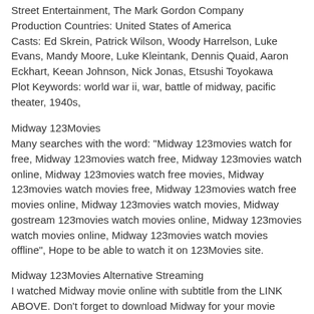Street Entertainment, The Mark Gordon Company
Production Countries: United States of America
Casts: Ed Skrein, Patrick Wilson, Woody Harrelson, Luke Evans, Mandy Moore, Luke Kleintank, Dennis Quaid, Aaron Eckhart, Keean Johnson, Nick Jonas, Etsushi Toyokawa
Plot Keywords: world war ii, war, battle of midway, pacific theater, 1940s,
Midway 123Movies
Many searches with the word: "Midway 123movies watch for free, Midway 123movies watch free, Midway 123movies watch online, Midway 123movies watch free movies, Midway 123movies watch movies free, Midway 123movies watch free movies online, Midway 123movies watch movies, Midway gostream 123movies watch movies online, Midway 123movies watch movies online, Midway 123movies watch movies offline", Hope to be able to watch it on 123Movies site.
Midway 123Movies Alternative Streaming
I watched Midway movie online with subtitle from the LINK ABOVE. Don't forget to download Midway for your movie collection.
Midway Streaming Without ADS (123Movies is not working)
No one likes ads. Enjoy Midway the way they were meant to be experienced: ad-free. I offer the link above for you, to get Midway Full Movie Free. Without ADS. So watch your movie on 123Movies alternative.